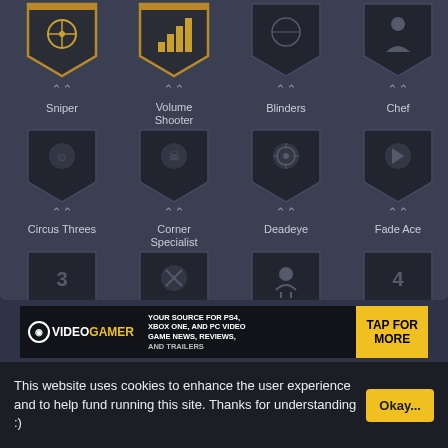[Figure (screenshot): Game achievement badges grid showing 12 badges in 3 rows of 4. Row 1: Sniper (gold shield with crosshair), Volume Shooter (gold shield with signal bars), Blinders (dark shield), Chef (dark shield). Row 2: Circus Threes (dark shield with clown), Corner Specialist (dark shield), Deadeye (dark shield with crosshair), Fade Ace (dark shield). Row 3: Limitless Spot Up (dark shield with number 3), Mismatch Expert (dark shield), Set Shooter (dark shield), Stop And Pop (dark shield). Each badge has a chevron arrow below it and a text label.]
[Figure (screenshot): VideoGamer advertisement banner: '(•) VIDEOGAMER - YOUR SOURCE FOR PS4, XBOX ONE, AND PC VIDEO GAME NEWS, REVIEWS, AND TRAILERS' with yellow 'TAP FOR MORE' button]
This website uses cookies to enhance the user experience and to help fund running this site. Thanks for understanding :)